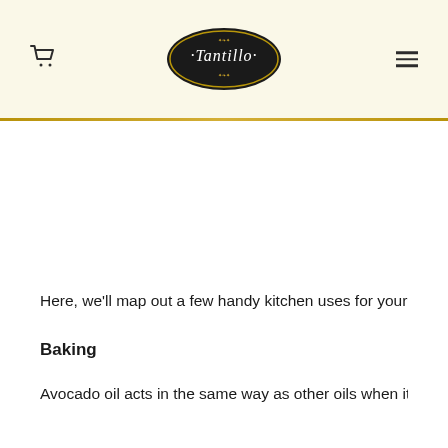Tantillo [logo with cart icon and menu icon]
Here, we'll map out a few handy kitchen uses for your ne
Baking
Avocado oil acts in the same way as other oils when it co